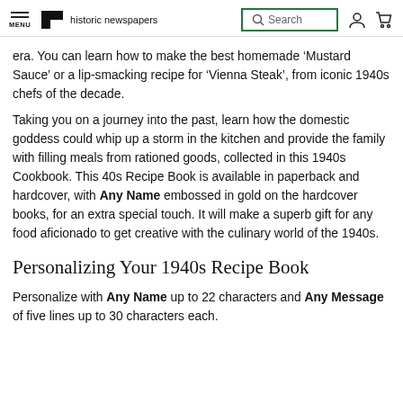MENU | historic newspapers | Search | [account icon] [cart icon]
era. You can learn how to make the best homemade ‘Mustard Sauce’ or a lip-smacking recipe for ‘Vienna Steak’, from iconic 1940s chefs of the decade.
Taking you on a journey into the past, learn how the domestic goddess could whip up a storm in the kitchen and provide the family with filling meals from rationed goods, collected in this 1940s Cookbook. This 40s Recipe Book is available in paperback and hardcover, with Any Name embossed in gold on the hardcover books, for an extra special touch. It will make a superb gift for any food aficionado to get creative with the culinary world of the 1940s.
Personalizing Your 1940s Recipe Book
Personalize with Any Name up to 22 characters and Any Message of five lines up to 30 characters each.
[partial text continues below]